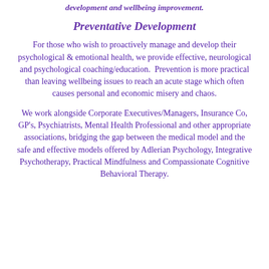development and wellbeing improvement.
Preventative Development
For those who wish to proactively manage and develop their psychological & emotional health, we provide effective, neurological and psychological coaching/education.  Prevention is more practical than leaving wellbeing issues to reach an acute stage which often causes personal and economic misery and chaos.
We work alongside Corporate Executives/Managers, Insurance Co, GP's, Psychiatrists, Mental Health Professional and other appropriate associations, bridging the gap between the medical model and the safe and effective models offered by Adlerian Psychology, Integrative Psychotherapy, Practical Mindfulness and Compassionate Cognitive Behavioral Therapy.